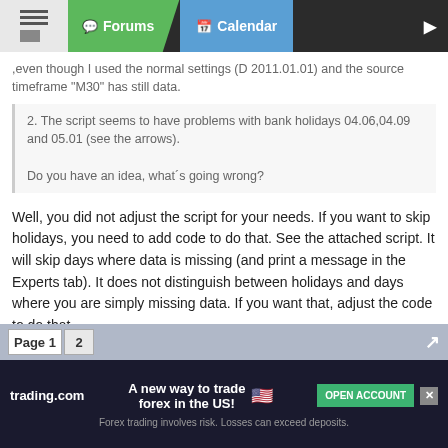Forums | Calendar
,even though I used the normal settings (D 2011.01.01) and the source timeframe "M30" has still data.
2. The script seems to have problems with bank holidays 04.06,04.09 and 05.01 (see the arrows).

Do you have an idea, what´s going wrong?
Well, you did not adjust the script for your needs. If you want to skip holidays, you need to add code to do that. See the attached script. It will skip days where data is missing (and print a message in the Experts tab). It does not distinguish between holidays and days where you are simply missing data. If you want that, adjust the code to do that.
I assume you are using FxPro. I don't know what to tell you about data missing before Feb 10. Works fine for me on FxPro:
Attached Image (click to enlarge)
[Figure (screenshot): Green candlestick/line chart on black background showing trading data]
Page 1  2
trading.com  A new way to trade forex in the US!  OPEN ACCOUNT  Forex trading involves risk. Losses can exceed deposits.